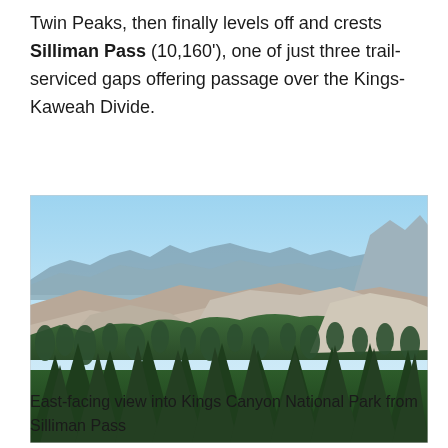Twin Peaks, then finally levels off and crests Silliman Pass (10,160'), one of just three trail-serviced gaps offering passage over the Kings-Kaweah Divide.
[Figure (photo): East-facing panoramic view into Kings Canyon National Park from Silliman Pass, showing granite ridgelines, conifer forests in the foreground, and distant mountain peaks under a blue sky.]
East-facing view into Kings Canyon National Park from Silliman Pass